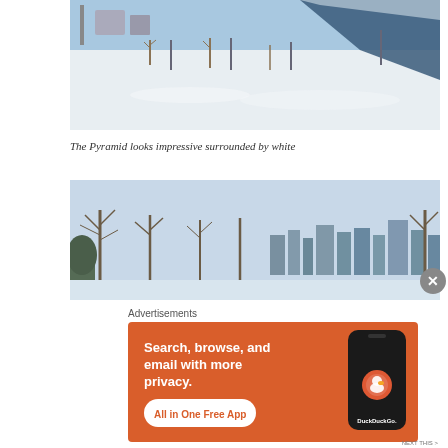[Figure (photo): Snowy winter landscape with The Pyramid building visible in the background, surrounded by white snow, bare trees, lamp posts, and a clear blue sky]
The Pyramid looks impressive surrounded by white
[Figure (photo): Winter city skyline with bare trees in the foreground and modern glass buildings visible in the background under a pale blue sky]
Advertisements
[Figure (screenshot): DuckDuckGo advertisement banner with orange background. Text reads: Search, browse, and email with more privacy. All in One Free App. Shows a smartphone with DuckDuckGo logo.]